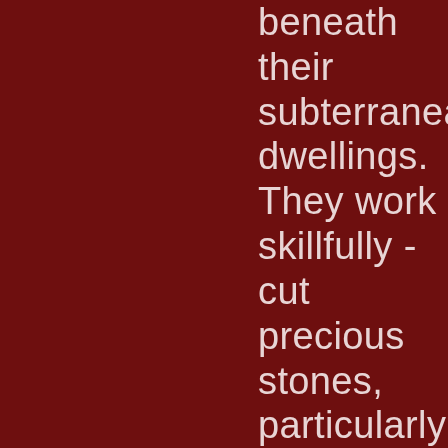beneath their subterranean dwellings. They work skillfully - cut precious stones, particularly diamonds and